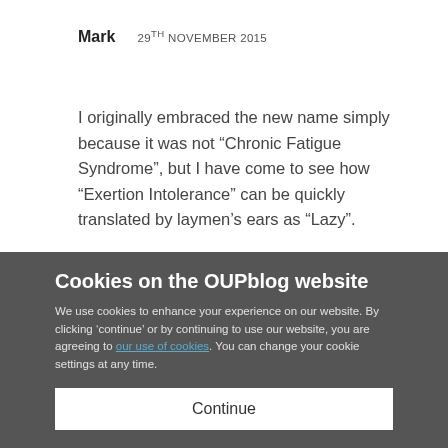Mark   29TH NOVEMBER 2015
I originally embraced the new name simply because it was not “Chronic Fatigue Syndrome”, but I have come to see how “Exertion Intolerance” can be quickly translated by laymen’s ears as “Lazy”.
What frustrates me more than anything is the lack of experts here in Canada, and in particular here in Vancouver, BC where I live. I have gone from family doctor to family doctor and from one specialist to
Cookies on the OUPblog website
We use cookies to enhance your experience on our website. By clicking ‘continue’ or by continuing to use our website, you are agreeing to our use of cookies. You can change your cookie settings at any time.
Continue